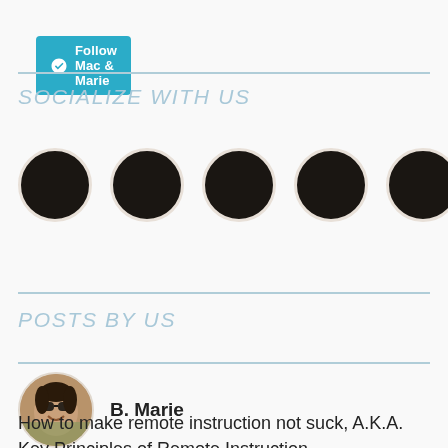[Figure (other): WordPress Follow button: 'Follow Mac & Marie' in teal/cyan rounded rectangle with WordPress icon]
SOCIALIZE WITH US
[Figure (other): Five dark circular social media icon buttons in a row]
POSTS BY US
[Figure (photo): Circular profile photo of B. Marie — a woman with sunglasses, smiling outdoors]
B. Marie
How to make remote instruction not suck, A.K.A. Key Principles of Remote Instruction